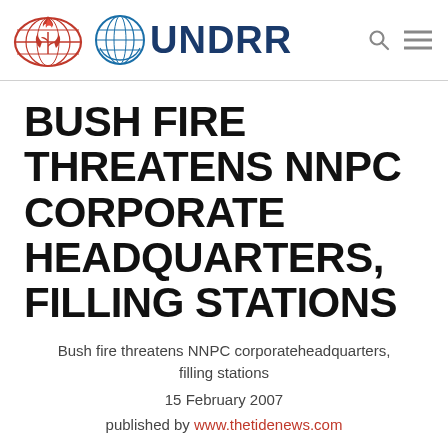[Figure (logo): UNDRR header with ISDR logo (red globe with flame and wheat), UN emblem, UNDRR text, search and menu icons]
BUSH FIRE THREATENS NNPC CORPORATE HEADQUARTERS, FILLING STATIONS
Bush fire threatens NNPC corporateheadquarters, filling stations
15 February 2007
published by www.thetidenews.com